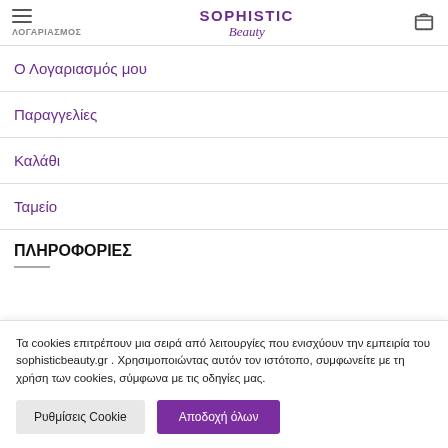ΛΟΓΑΡΙΑΣΜΟΣ | SOPHISTIC Beauty
Ο Λογαριασμός μου
Παραγγελίες
Καλάθι
Ταμείο
ΠΛΗΡΟΦΟΡΙΕΣ
Τα cookies επιτρέπουν μια σειρά από λειτουργίες που ενισχύουν την εμπειρία του sophisticbeauty.gr . Χρησιμοποιώντας αυτόν τον ιστότοπο, συμφωνείτε με τη χρήση των cookies, σύμφωνα με τις οδηγίες μας.
Ρυθμίσεις Cookie | Αποδοχή όλων